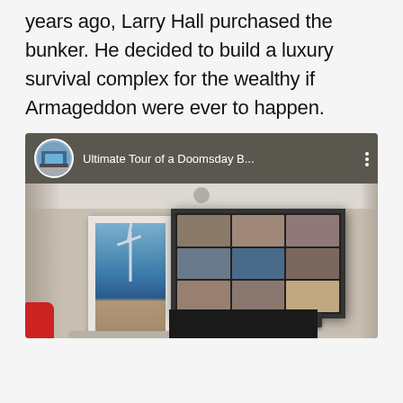years ago, Larry Hall purchased the bunker. He decided to build a luxury survival complex for the wealthy if Armageddon were ever to happen.
[Figure (screenshot): Embedded video player screenshot showing a YouTube-style video titled 'Ultimate Tour of a Doomsday B...' with a channel avatar icon. The video frame shows an interior room with a tall portrait digital display showing a wind turbine scene, a large wall-mounted TV grid display, a soundbar, and another dark screen below. A hint of a red chair is visible on the left edge.]